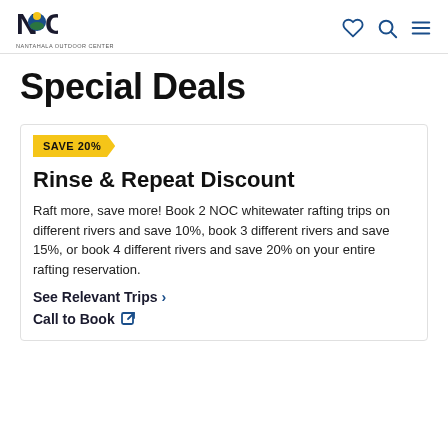NOC - Nantahala Outdoor Center
Special Deals
SAVE 20%
Rinse & Repeat Discount
Raft more, save more! Book 2 NOC whitewater rafting trips on different rivers and save 10%, book 3 different rivers and save 15%, or book 4 different rivers and save 20% on your entire rafting reservation.
See Relevant Trips >
Call to Book